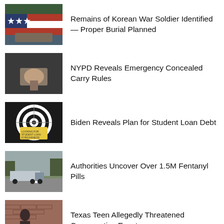[Figure (photo): Flag-draped coffin being carried]
Remains of Korean War Soldier Identified — Proper Burial Planned
[Figure (photo): Person reaching into bag or holster]
NYPD Reveals Emergency Concealed Carry Rules
[Figure (photo): Dartboard with sticky note about student loan forgiveness]
Biden Reveals Plan for Student Loan Debt
[Figure (photo): Semi-truck on a road with trees]
Authorities Uncover Over 1.5M Fentanyl Pills
[Figure (photo): Person near brick wall]
Texas Teen Allegedly Threatened Conservative Event